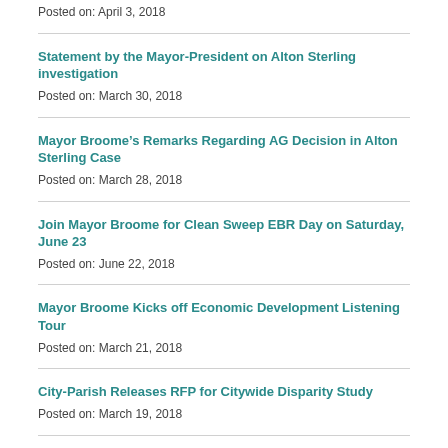Posted on: April 3, 2018
Statement by the Mayor-President on Alton Sterling investigation
Posted on: March 30, 2018
Mayor Broome’s Remarks Regarding AG Decision in Alton Sterling Case
Posted on: March 28, 2018
Join Mayor Broome for Clean Sweep EBR Day on Saturday, June 23
Posted on: June 22, 2018
Mayor Broome Kicks off Economic Development Listening Tour
Posted on: March 21, 2018
City-Parish Releases RFP for Citywide Disparity Study
Posted on: March 19, 2018
Mayor Broome's Statement on Fallen Officer
Posted on: March 13, 2018